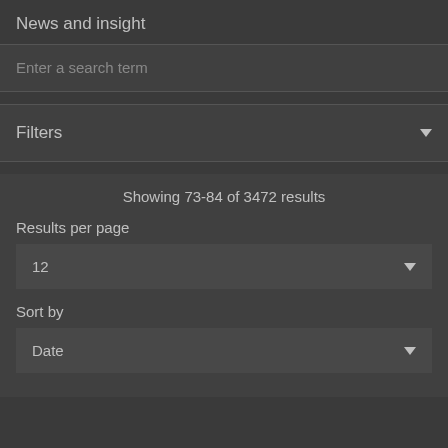News and insight
Enter a search term
Filters
Showing 73-84 of 3472 results
Results per page
12
Sort by
Date